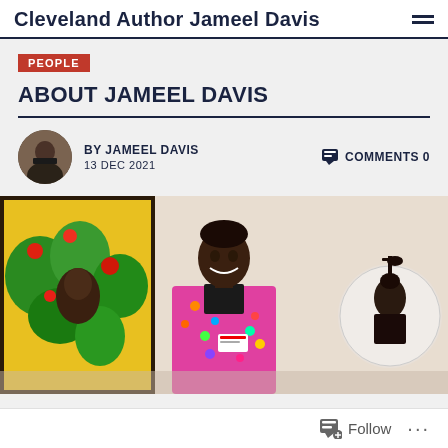Cleveland Author Jameel Davis
PEOPLE
ABOUT JAMEEL DAVIS
BY JAMEEL DAVIS   COMMENTS 0
13 DEC 2021
[Figure (photo): Photo of Jameel Davis smiling in a colorful patterned blazer standing in front of artwork including a vibrant portrait painting on the left and a circular artwork on the right in what appears to be an art gallery.]